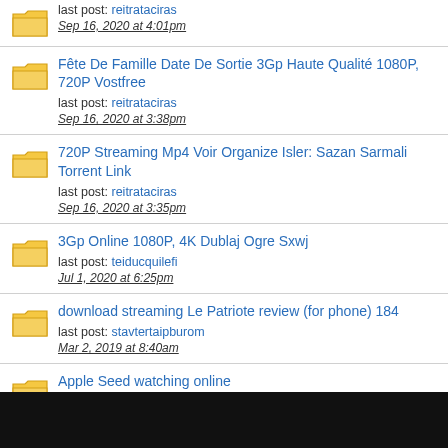last post: reitrataciras
Sep 16, 2020 at 4:01pm
Fête De Famille Date De Sortie 3Gp Haute Qualité 1080P, 720P Vostfree
last post: reitrataciras
Sep 16, 2020 at 3:38pm
720P Streaming Mp4 Voir Organize Isler: Sazan Sarmali Torrent Link
last post: reitrataciras
Sep 16, 2020 at 3:35pm
3Gp Online 1080P, 4K Dublaj Ogre Sxwj
last post: teiducquilefi
Jul 1, 2020 at 6:25pm
download streaming Le Patriote review (for phone) 184
last post: stavtertaipburom
Mar 2, 2019 at 8:40am
Apple Seed watching online
last post: stavtertaipburom
Mar 2, 2019 at 8:30am